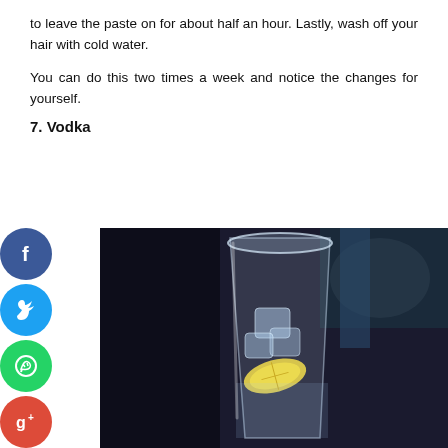to leave the paste on for about half an hour. Lastly, wash off your hair with cold water.
You can do this two times a week and notice the changes for yourself.
7. Vodka
[Figure (photo): A clear glass filled with ice and a lemon slice, resembling a vodka-based drink, on a dark blurred background.]